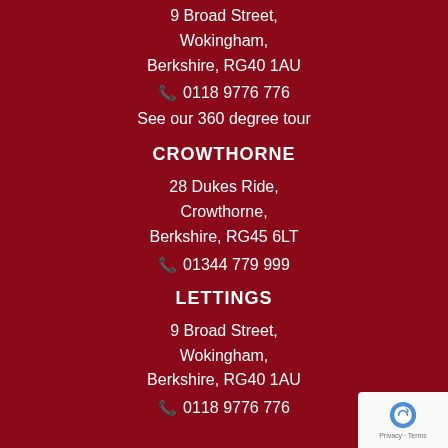9 Broad Street,
Wokingham,
Berkshire, RG40 1AU
☎ 0118 9776 776
See our 360 degree tour
CROWTHORNE
28 Dukes Ride,
Crowthorne,
Berkshire, RG45 6LT
☎ 01344 779 999
LETTINGS
9 Broad Street,
Wokingham,
Berkshire, RG40 1AU
☎ 0118 9776 776